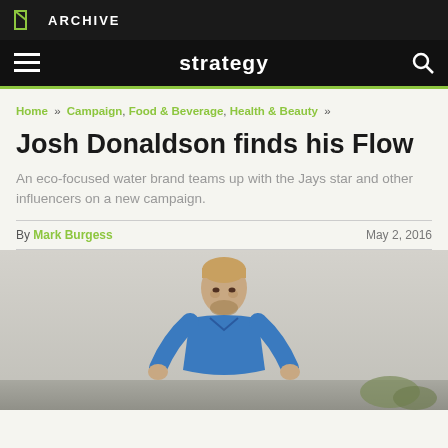M ARCHIVE
strategy
Home » Campaign, Food & Beverage, Health & Beauty »
Josh Donaldson finds his Flow
An eco-focused water brand teams up with the Jays star and other influencers on a new campaign.
By Mark Burgess   May 2, 2016
[Figure (photo): Photo of Josh Donaldson in a blue shirt, leaning forward with an intense expression, outdoors]